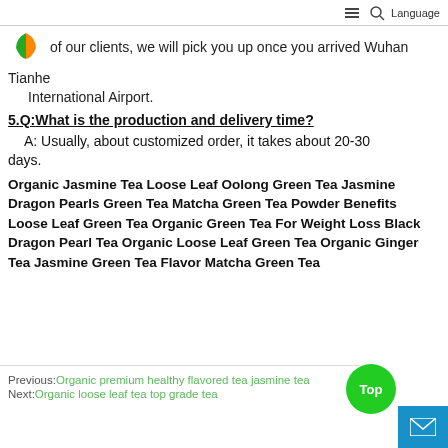Language
of our clients, we will pick you up once you arrived Wuhan Tianhe International Airport.
5.Q:What is the production and delivery time?
A: Usually, about customized order, it takes about 20-30 days.
Organic Jasmine Tea Loose Leaf Oolong Green Tea Jasmine Dragon Pearls Green Tea Matcha Green Tea Powder Benefits Loose Leaf Green Tea Organic Green Tea For Weight Loss Black Dragon Pearl Tea Organic Loose Leaf Green Tea Organic Ginger Tea Jasmine Green Tea Flavor Matcha Green Tea
Previous: Organic premium healthy flavored tea jasmine tea
Next: Organic loose leaf tea top grade tea